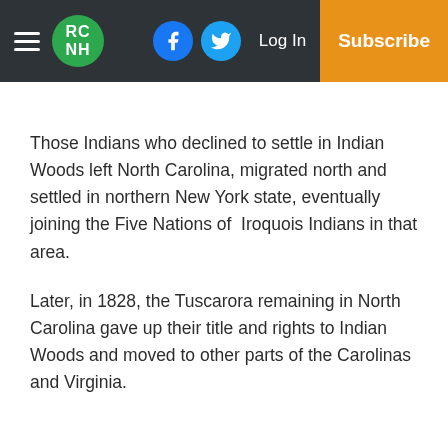RC NH | Log In | Subscribe
Those Indians who declined to settle in Indian Woods left North Carolina, migrated north and settled in northern New York state, eventually joining the Five Nations of Iroquois Indians in that area.
Later, in 1828, the Tuscarora remaining in North Carolina gave up their title and rights to Indian Woods and moved to other parts of the Carolinas and Virginia.